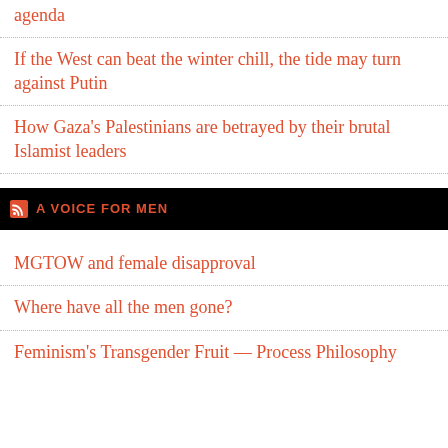agenda
If the West can beat the winter chill, the tide may turn against Putin
How Gaza’s Palestinians are betrayed by their brutal Islamist leaders
A VOICE FOR MEN
MGTOW and female disapproval
Where have all the men gone?
Feminism’s Transgender Fruit — Process Philosophy